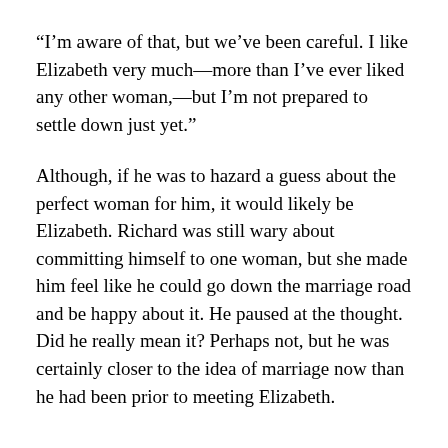“I’m aware of that, but we’ve been careful. I like Elizabeth very much—more than I’ve ever liked any other woman,—but I’m not prepared to settle down just yet.”
Although, if he was to hazard a guess about the perfect woman for him, it would likely be Elizabeth. Richard was still wary about committing himself to one woman, but she made him feel like he could go down the marriage road and be happy about it. He paused at the thought. Did he really mean it? Perhaps not, but he was certainly closer to the idea of marriage now than he had been prior to meeting Elizabeth.